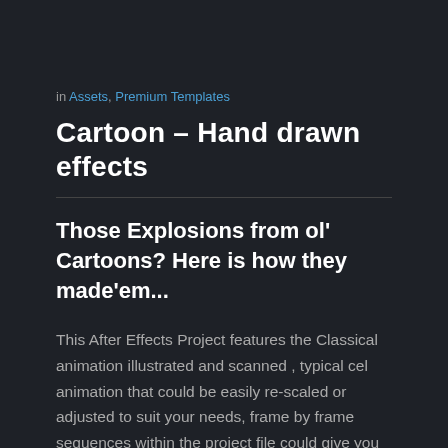in Assets, Premium Templates
Cartoon – Hand drawn effects
Those Explosions from ol' Cartoons? Here is how they made'em...
This After Effects Project features the Classical animation illustrated and scanned , typical cel animation that could be easily re-scaled or adjusted to suit your needs, frame by frame sequences within the project file could give you a glimpse of the traditional animation methods,